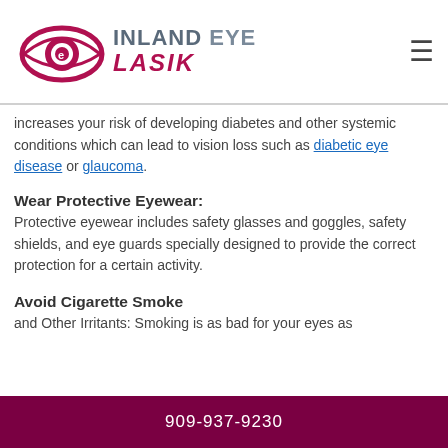Inland Eye Lasik — navigation header
increases your risk of developing diabetes and other systemic conditions which can lead to vision loss such as diabetic eye disease or glaucoma.
Wear Protective Eyewear:
Protective eyewear includes safety glasses and goggles, safety shields, and eye guards specially designed to provide the correct protection for a certain activity.
Avoid Cigarette Smoke
and Other Irritants: Smoking is as bad for your eyes as...
909-937-9230